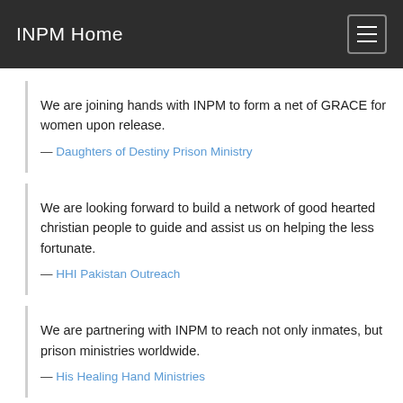INPM Home
We are joining hands with INPM to form a net of GRACE for women upon release.
— Daughters of Destiny Prison Ministry
We are looking forward to build a network of good hearted christian people to guide and assist us on helping the less fortunate.
— HHI Pakistan Outreach
We are partnering with INPM to reach not only inmates, but prison ministries worldwide.
— His Healing Hand Ministries
We are thankful to the lord that we have been